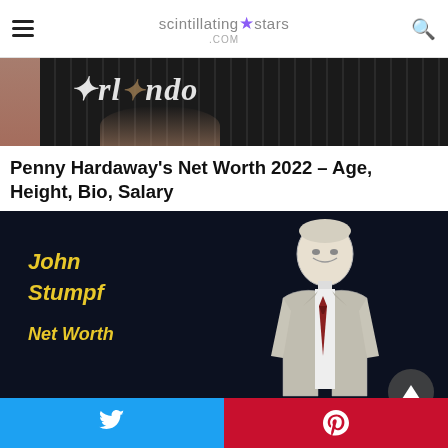scintillating★stars.com
[Figure (photo): Partial view of a person in an Orlando Magic jersey, cropped to show torso and arms holding something, dark reddish-brown background]
Penny Hardaway's Net Worth 2022 – Age, Height, Bio, Salary
[Figure (illustration): Dark navy background with illustrated sketch of John Stumpf in a suit and tie. Yellow italic text on the left reads 'John Stumpf Net Worth'. A circular up-arrow button is in the bottom right corner.]
Twitter share button | Pinterest share button